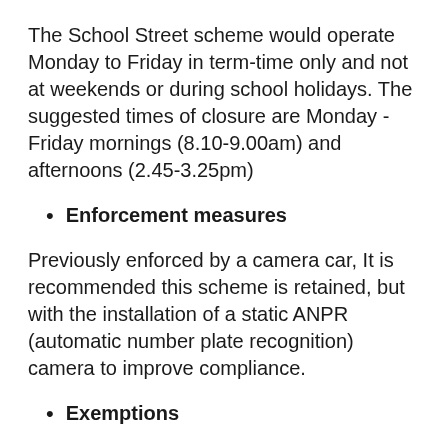The School Street scheme would operate Monday to Friday in term-time only and not at weekends or during school holidays. The suggested times of closure are Monday - Friday mornings (8.10-9.00am) and afternoons (2.45-3.25pm)
Enforcement measures
Previously enforced by a camera car, It is recommended this scheme is retained, but with the installation of a static ANPR (automatic number plate recognition) camera to improve compliance.
Exemptions